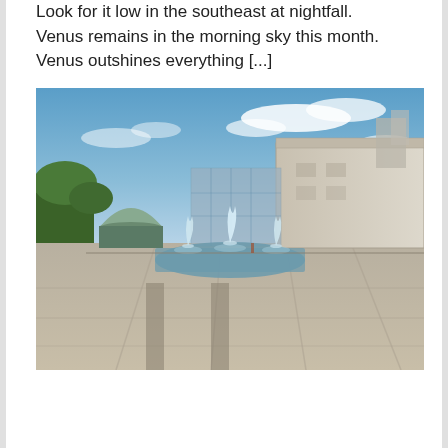Look for it low in the southeast at nightfall.   Venus remains in the morning sky this month.  Venus outshines everything [...]
[Figure (photo): Outdoor photograph of a planetarium or science museum building with a large rectangular stone structure on the right, a green dome on the left, and a fountain with three water jets in the foreground pool. Blue sky with clouds above, paved plaza in the foreground.]